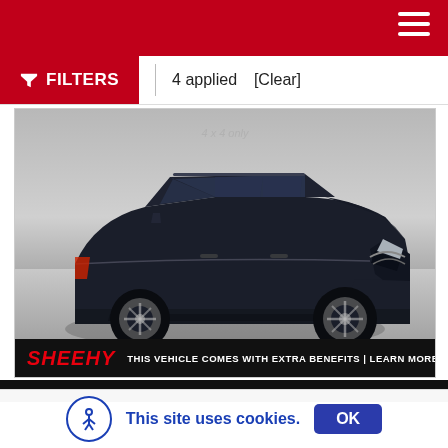Sheehy Auto website header with hamburger menu
FILTERS | 4 applied [Clear]
[Figure (photo): Dark blue/black Nissan Rogue SUV photographed at three-quarter front angle in a studio setting. The vehicle has roof rails, alloy wheels, and chrome accents. A Sheehy dealership banner at the bottom reads: SHEEHY THIS VEHICLE COMES WITH EXTRA BENEFITS | LEARN MORE ▶]
This site uses cookies. OK